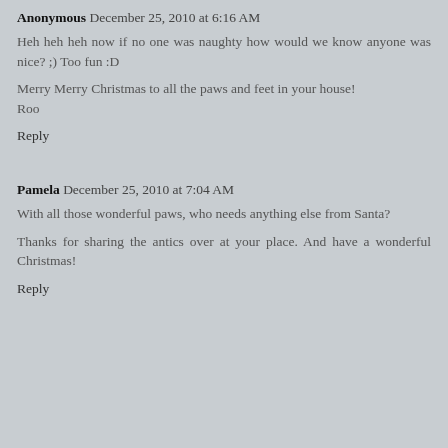Anonymous December 25, 2010 at 6:16 AM
Heh heh heh now if no one was naughty how would we know anyone was nice? ;) Too fun :D
Merry Merry Christmas to all the paws and feet in your house!
Roo
Reply
Pamela December 25, 2010 at 7:04 AM
With all those wonderful paws, who needs anything else from Santa?
Thanks for sharing the antics over at your place. And have a wonderful Christmas!
Reply